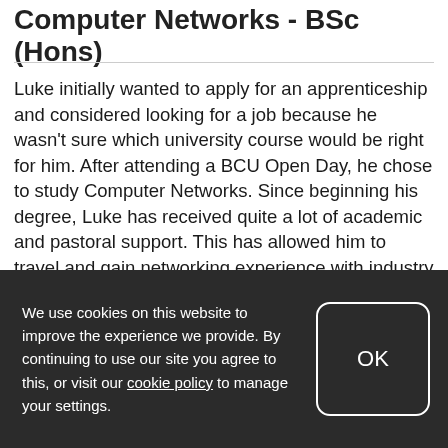Computer Networks - BSc (Hons)
Luke initially wanted to apply for an apprenticeship and considered looking for a job because he wasn't sure which university course would be right for him. After attending a BCU Open Day, he chose to study Computer Networks. Since beginning his degree, Luke has received quite a lot of academic and pastoral support. This has allowed him to travel and gain networking experience with industry professionals.
"I always planned to go to university, but I never really had my
We use cookies on this website to improve the experience we provide. By continuing to use our site you agree to this, or visit our cookie policy to manage your settings.